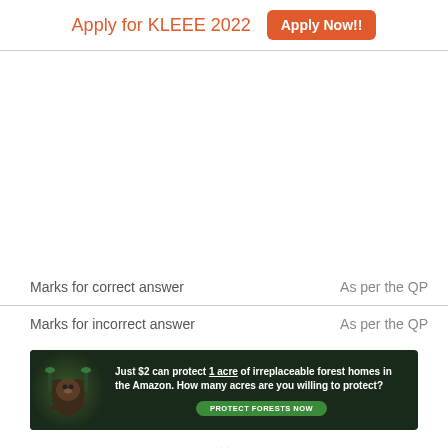Apply for KLEEE 2022  Apply Now!!
|  |  |
| --- | --- |
| Marks for correct answer | As per the QP |
| Marks for incorrect answer | As per the QP |
[Figure (photo): Advertisement banner for Amazon forest protection: 'Just $2 can protect 1 acre of irreplaceable forest homes in the Amazon. How many acres are you willing to protect?' with a green PROTECT FORESTS NOW button and a sloth image on a dark forest background.]